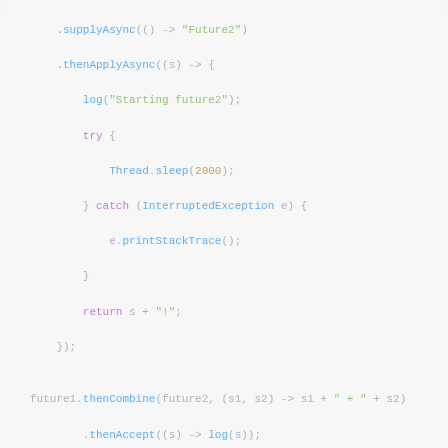[Figure (screenshot): Code snippet showing Java CompletableFuture chain with supplyAsync, thenApplyAsync, thenCombine, and thenAccept methods]
anyOf()
nyOf()는 여러개의 CompletableFuture 중에서 가장 빠르게 처리되는 1개의 결과값을 가지는 새로운 CompletableFuture를 반환합니다.